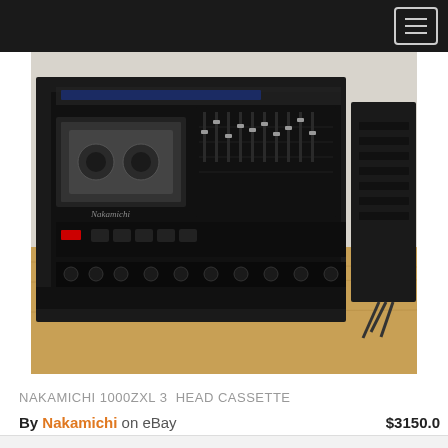Navigation menu header with hamburger icon
[Figure (photo): Photo of a Nakamichi 1000ZXL 3-head cassette deck, black unit with slider controls and transport buttons, sitting on a wooden surface inside a black frame, with other audio equipment visible to the right]
NAKAMICHI 1000ZXL 3 HEAD CASSETTE
By Nakamichi on eBay $3150.0